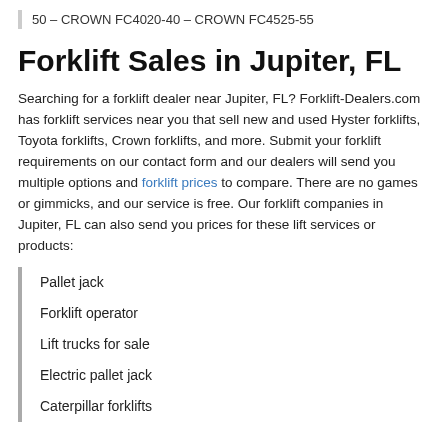50 – CROWN FC4020-40 – CROWN FC4525-55
Forklift Sales in Jupiter, FL
Searching for a forklift dealer near Jupiter, FL? Forklift-Dealers.com has forklift services near you that sell new and used Hyster forklifts, Toyota forklifts, Crown forklifts, and more. Submit your forklift requirements on our contact form and our dealers will send you multiple options and forklift prices to compare. There are no games or gimmicks, and our service is free. Our forklift companies in Jupiter, FL can also send you prices for these lift services or products:
Pallet jack
Forklift operator
Lift trucks for sale
Electric pallet jack
Caterpillar forklifts